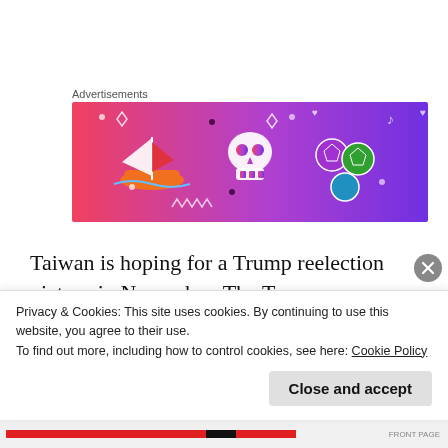Advertisements
[Figure (illustration): Colorful advertisement banner with cartoon illustrations: a sailboat, skull, geometric shapes, music notes, and dots on a pink-to-purple gradient background.]
Taiwan is hoping for a Trump reelection victory in November. The Trump administration’s criticism of China’s expansionism and human rights violations have proven to Taipei that it has a genuine friend in President Trump. A Biden victory, given his soft record on China
Privacy & Cookies: This site uses cookies. By continuing to use this website, you agree to their use.
To find out more, including how to control cookies, see here: Cookie Policy
Close and accept